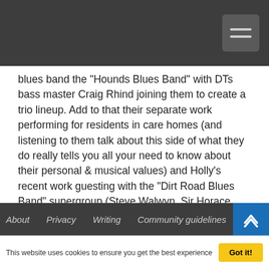[Navigation bar with hamburger menu]
blues band the "Hounds Blues Band" with DTs bass master Craig Rhind joining them to create a trio lineup. Add to that their separate work performing for residents in care homes (and listening to them talk about this side of what they do really tells you all your need to know about their personal & musical values) and Holly's recent work guesting with the "Dirt Road Blues Band" supergroup (Steve Walwyn, Sir Horace again & Ted Duggan plus Patricia Moore, Mark Feltham & Holly as guests) and you begin to get a feel for how incredibly active they are: and that is not even taking account of their substantial work for private parties & functions (as "Gloria Sunset" outstripping their public gigs) and retro events such
About   Privacy   Writing   Community guidelines
This website uses cookies to ensure you get the best experience